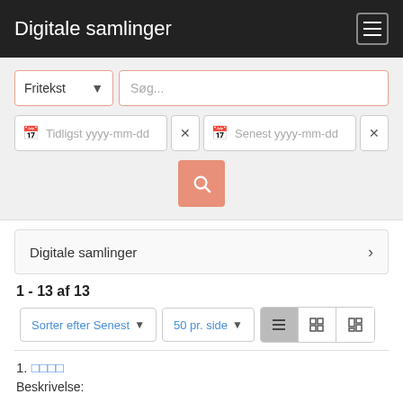Digitale samlinger
Fritekst  Søg...
Tidligst yyyy-mm-dd  ×  Senest yyyy-mm-dd  ×
🔍 (search button)
Digitale samlinger  ›
1 - 13 af 13
Sorter efter Senest ▾  50 pr. side ▾  [list view icons]
1. □□□□
Beskrivelse: